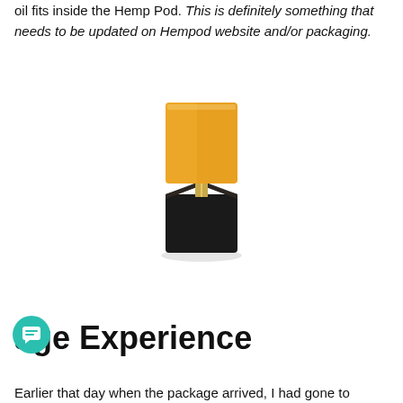oil fits inside the Hemp Pod. This is definitely something that needs to be updated on Hempod website and/or packaging.
[Figure (photo): A hemp pod vape cartridge with an amber/yellow top and black bottom section, photographed on a white background with a soft shadow beneath it.]
age Experience
Earlier that day when the package arrived, I had gone to